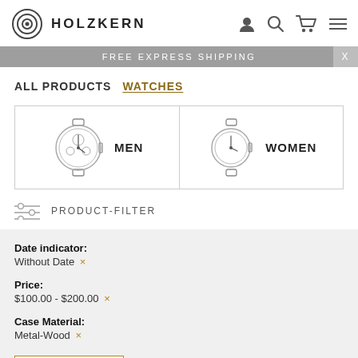[Figure (logo): Holzkern logo: concentric circle target icon and HOLZKERN text]
FREE EXPRESS SHIPPING
ALL PRODUCTS   WATCHES
[Figure (illustration): Two category cards: MEN watch icon and WOMEN watch icon]
PRODUCT-FILTER
Date indicator:
Without Date ×
Price:
$100.00 - $200.00 ×
Case Material:
Metal-Wood ×
× Clear all filters